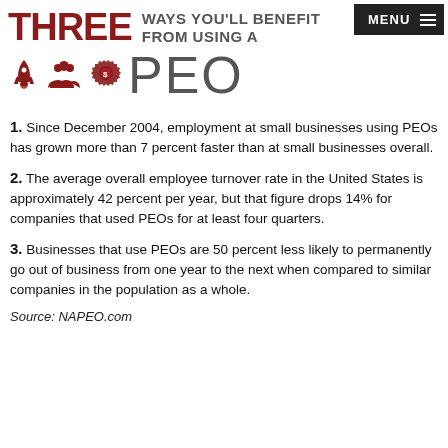[Figure (infographic): Header graphic showing 'THREE WAYS YOU'LL BENEFIT FROM USING A PEO' with three dark red icons (rocket, people/team, dollar gear) and a menu button in top right corner.]
1. Since December 2004, employment at small businesses using PEOs has grown more than 7 percent faster than at small businesses overall.
2. The average overall employee turnover rate in the United States is approximately 42 percent per year, but that figure drops 14% for companies that used PEOs for at least four quarters.
3. Businesses that use PEOs are 50 percent less likely to permanently go out of business from one year to the next when compared to similar companies in the population as a whole.
Source: NAPEO.com